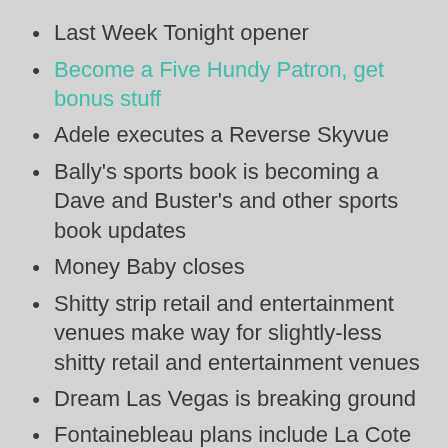Last Week Tonight opener
Become a Five Hundy Patron, get bonus stuff
Adele executes a Reverse Skyvue
Bally's sports book is becoming a Dave and Buster's and other sports book updates
Money Baby closes
Shitty strip retail and entertainment venues make way for slightly-less shitty retail and entertainment venues
Dream Las Vegas is breaking ground
Fontainebleau plans include La Cote
Resorts World tunnel finally opens
Immersive Van Gogh extended again
Listener calls about lots of Vegasy things, including: Piff the Magic Dragon, timeshare offers, ATM fees, The Mirage, The Linq, Shania, Cosmo art, Wynn Masterclasses, The